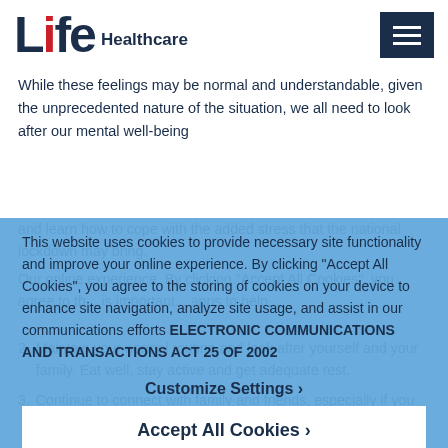[Figure (logo): Life Healthcare logo with 'Life' in dark navy bold text with red 'i', and 'Healthcare' in smaller navy text]
While these feelings may be normal and understandable, given the unprecedented nature of the situation, we all need to look after our mental well-being and learn how to cope with the added stress that the national lockdown may bring.
This website uses cookies to provide necessary site functionality and improve your online experience. By clicking “Accept All Cookies”, you agree to the storing of cookies on your device to enhance site navigation, analyze site usage, and assist in our communications efforts ELECTRONIC COMMUNICATIONS AND TRANSACTIONS ACT 25 OF 2002
Customize Settings ›
Accept All Cookies ›
2. Maintain your normal routine and look after yourself and your family. Eat well, stay active and get adequate rest.
3. Continue to connect with family and friends, especially if you are separated from your loved ones...